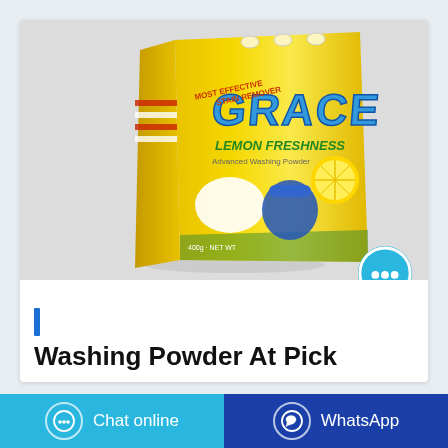[Figure (photo): Yellow bag of GRACE Lemon Freshness washing powder / advanced washing powder, displayed on a light grey background. The bag features bold blue stylized text reading GRACE, with lemon imagery and a blue shirt/clothing graphic.]
|
Washing Powder At Pick
Chat online
WhatsApp